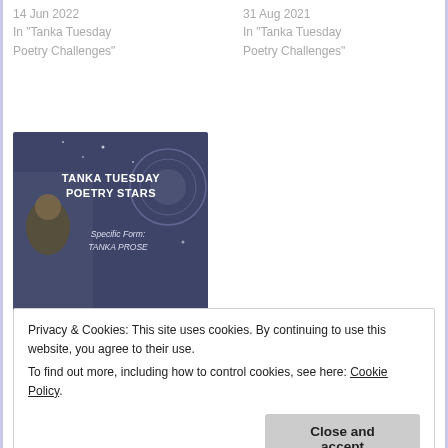14 Jun 2022
In "Tanka Tuesday Poetry Challenges"
31 Aug 2021
In "Tanka Tuesday Poetry Challenges"
[Figure (photo): Dark blue banner image with text: TANKA TUESDAY POETRY STARS, Specific Form: TANKA PROSE]
#TANKATUESDAY #POETRY STARS | #Specificform: #Tanka #Prose
6 Sep 2021
Privacy & Cookies: This site uses cookies. By continuing to use this website, you agree to their use.
To find out more, including how to control cookies, see here: Cookie Policy
Close and accept